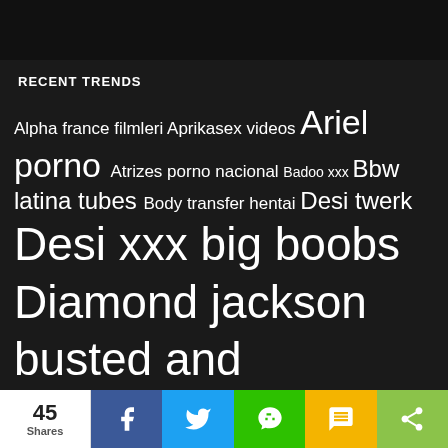RECENT TRENDS
Alpha france filmleri Aprikasex videos Ariel porno Atrizes porno nacional Badoo xxx Bbw latina tubes Body transfer hentai Desi twerk Desi xxx big boobs Diamond jackson busted and busty Extra torrnt cc Ferfect girl Five minutes sex video Girls do porn videos hd Guy masturbating with girl Hard kidnaping gangrape xx com Il meglio del porno gratis Japanese student
45 Shares